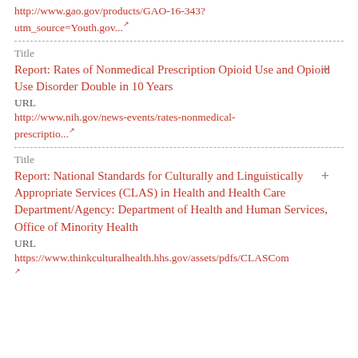http://www.gao.gov/products/GAO-16-343?utm_source=Youth.gov...
Title
Report: Rates of Nonmedical Prescription Opioid Use and Opioid Use Disorder Double in 10 Years URL
http://www.nih.gov/news-events/rates-nonmedical-prescriptio...
Title
Report: National Standards for Culturally and Linguistically Appropriate Services (CLAS) in Health and Health Care Department/Agency: Department of Health and Human Services, Office of Minority Health URL
https://www.thinkculturalhealth.hhs.gov/assets/pdfs/CLASCom...